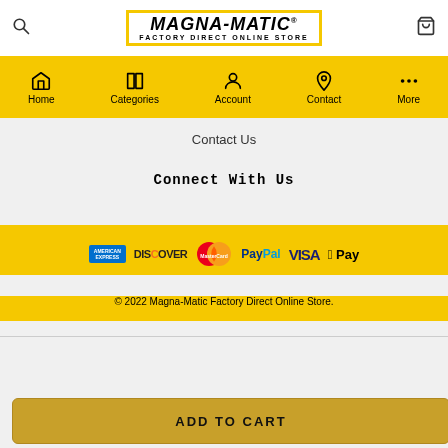[Figure (logo): MAGNA-MATIC Factory Direct Online Store logo in yellow bordered box with search icon and cart icon]
[Figure (infographic): Navigation bar with Home, Categories, Account, Contact, More icons on yellow background]
Contact Us
Connect With Us
[Figure (infographic): Payment logos: American Express, Discover, MasterCard, PayPal, VISA, Apple Pay on yellow background]
© 2022 Magna-Matic Factory Direct Online Store.
ADD TO CART